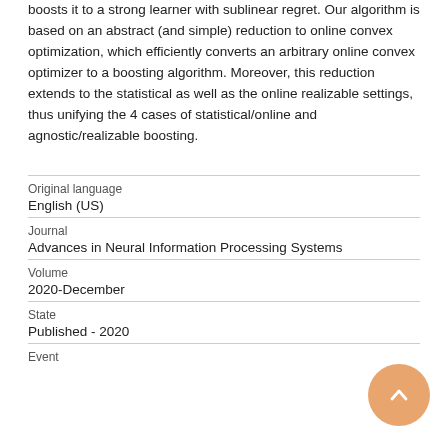boosts it to a strong learner with sublinear regret. Our algorithm is based on an abstract (and simple) reduction to online convex optimization, which efficiently converts an arbitrary online convex optimizer to a boosting algorithm. Moreover, this reduction extends to the statistical as well as the online realizable settings, thus unifying the 4 cases of statistical/online and agnostic/realizable boosting.
| Field | Value |
| --- | --- |
| Original language | English (US) |
| Journal | Advances in Neural Information Processing Systems |
| Volume | 2020-December |
| State | Published - 2020 |
| Event |  |